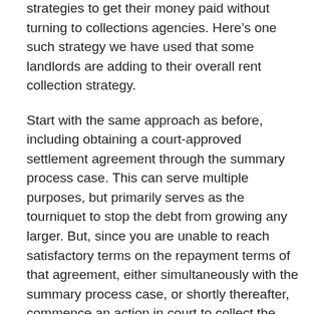strategies to get their money paid without turning to collections agencies. Here's one such strategy we have used that some landlords are adding to their overall rent collection strategy.
Start with the same approach as before, including obtaining a court-approved settlement agreement through the summary process case. This can serve multiple purposes, but primarily serves as the tourniquet to stop the debt from growing any larger. But, since you are unable to reach satisfactory terms on the repayment terms of that agreement, either simultaneously with the summary process case, or shortly thereafter, commence an action in court to collect the balance the tenant owes you.